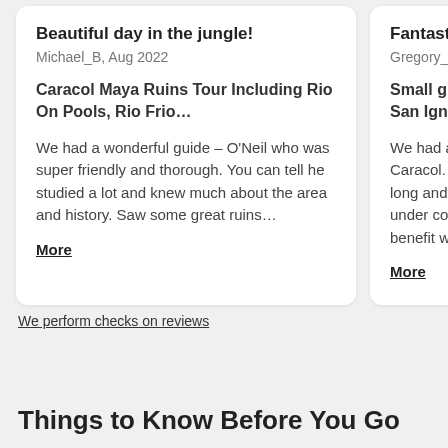Beautiful day in the jungle!
Michael_B, Aug 2022
Caracol Maya Ruins Tour Including Rio On Pools, Rio Frio...
We had a wonderful guide - O'Neil who was super friendly and thorough. You can tell he studied a lot and knew much about the area and history. Saw some great ruins...
More
Fantastic
Gregory_2
Small gro... San Ignac...
We had a Caracol. T long and l under cor benefit w
More
We perform checks on reviews
Things to Know Before You Go